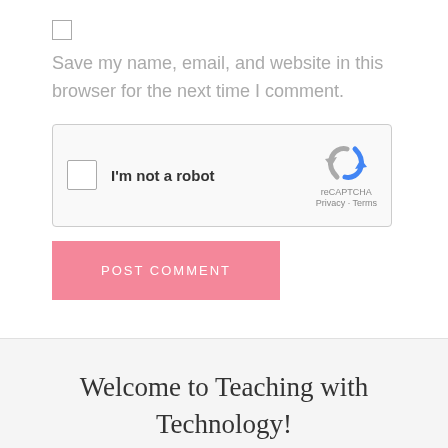Save my name, email, and website in this browser for the next time I comment.
[Figure (screenshot): reCAPTCHA widget with checkbox labeled 'I'm not a robot' and reCAPTCHA logo with Privacy and Terms links]
POST COMMENT
Welcome to Teaching with Technology!